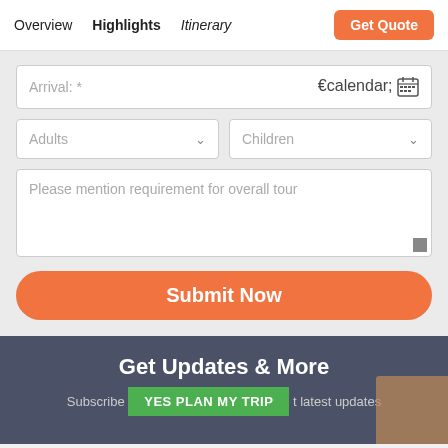Overview  Highlights  Itinerary  Get Quote
Arrival: *
Adults
Children
Please mention requirement for overall tour
Submit Now
Get Updates & More
Subscribe YES PLAN MY TRIP t latest updates